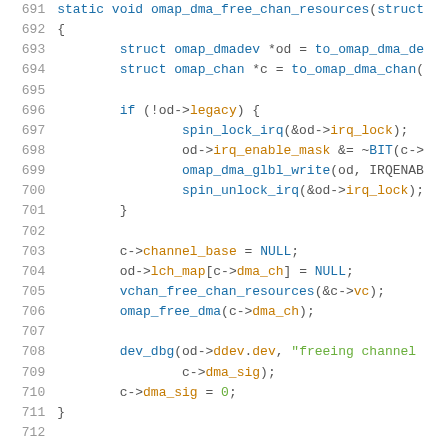[Figure (screenshot): Source code listing showing lines 691-712 of a C function omap_dma_free_chan_resources with syntax highlighting. Line numbers in gray on the left, code in blue, orange, and green on the right.]